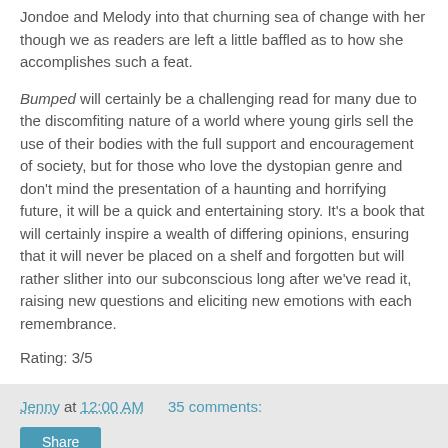Jondoe and Melody into that churning sea of change with her though we as readers are left a little baffled as to how she accomplishes such a feat.
Bumped will certainly be a challenging read for many due to the discomfiting nature of a world where young girls sell the use of their bodies with the full support and encouragement of society, but for those who love the dystopian genre and don't mind the presentation of a haunting and horrifying future, it will be a quick and entertaining story. It's a book that will certainly inspire a wealth of differing opinions, ensuring that it will never be placed on a shelf and forgotten but will rather slither into our subconscious long after we've read it, raising new questions and eliciting new emotions with each remembrance.
Rating: 3/5
Jenny at 12:00 AM   35 comments:   Share